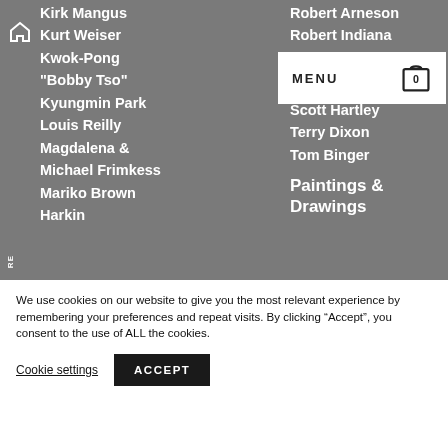[Figure (screenshot): Navigation menu open on a gallery/art website showing two columns of artist names on a grey background, with a white MENU bar overlay containing a shopping cart icon showing 0 items, a home icon top left, and a rotated RE label on the left side.]
Kirk Mangus
Kurt Weiser
Kwok-Pong "Bobby Tso"
Kyungmin Park
Louis Reilly
Magdalena & Michael Frimkess
Mariko Brown Harkin
Robert Arneson
Robert Indiana
Scott Hartley
Terry Dixon
Tom Binger
Paintings & Drawings
We use cookies on our website to give you the most relevant experience by remembering your preferences and repeat visits. By clicking “Accept”, you consent to the use of ALL the cookies.
Cookie settings
ACCEPT